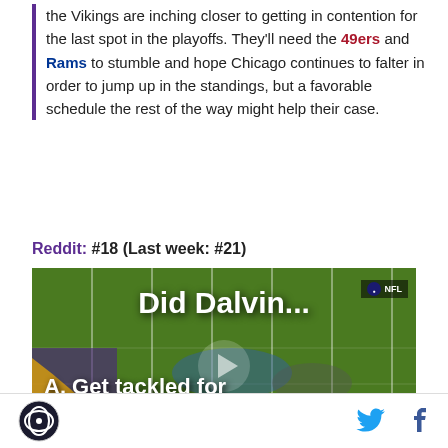the Vikings are inching closer to getting in contention for the last spot in the playoffs. They'll need the 49ers and Rams to stumble and hope Chicago continues to falter in order to jump up in the standings, but a favorable schedule the rest of the way might help their case.
Reddit: #18 (Last week: #21)
[Figure (screenshot): NFL video screenshot showing a football game with text overlay reading 'Did Dalvin...' and options 'A. Get tackled for a huge loss' and 'B. Magically gain', with a play button in center. NFL logo badge in top right. Down marker '1ST & 10' visible. Minnesota Vikings logo in bottom left.]
Site logo | Twitter icon | Facebook icon